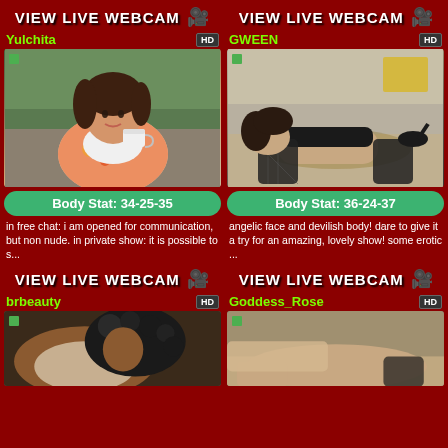VIEW LIVE WEBCAM  VIEW LIVE WEBCAM
Yulchita
[Figure (photo): Woman with short dark hair holding a white coffee cup, wearing floral shirt]
Body Stat: 34-25-35
in free chat: i am opened for communication, but non nude. in private show: it is possible to s...
GWEEN
[Figure (photo): Woman in black lingerie and fishnet stockings posed on bed]
Body Stat: 36-24-37
angelic face and devilish body! dare to give it a try for an amazing, lovely show! some erotic ...
VIEW LIVE WEBCAM  VIEW LIVE WEBCAM
brbeauty
[Figure (photo): Woman with curly dark hair in white clothing]
Goddess_Rose
[Figure (photo): Woman in tan/nude tones on bed]